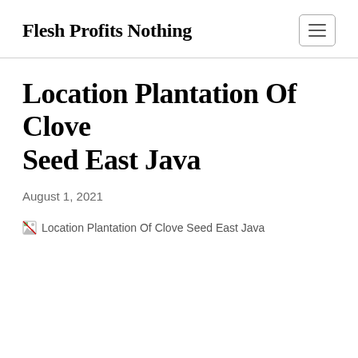Flesh Profits Nothing
Location Plantation Of Clove Seed East Java
August 1, 2021
[Figure (photo): Broken image placeholder with alt text: Location Plantation Of Clove Seed East Java]